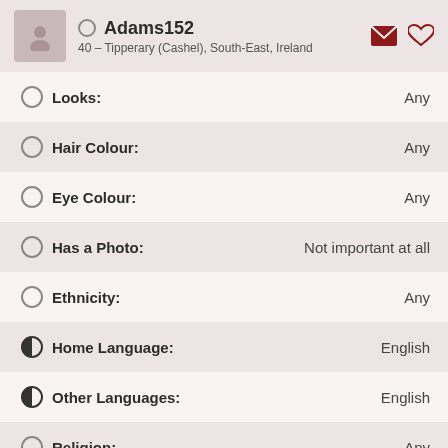Adams152 — 40 – Tipperary (Cashel), South-East, Ireland
Looks: Any
Hair Colour: Any
Eye Colour: Any
Has a Photo: Not important at all
Ethnicity: Any
Home Language: English
Other Languages: English
Religion: Any